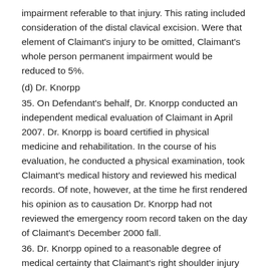impairment referable to that injury. This rating included consideration of the distal clavical excision. Were that element of Claimant's injury to be omitted, Claimant's whole person permanent impairment would be reduced to 5%.
(d) Dr. Knorpp
35. On Defendant's behalf, Dr. Knorpp conducted an independent medical evaluation of Claimant in April 2007. Dr. Knorpp is board certified in physical medicine and rehabilitation. In the course of his evaluation, he conducted a physical examination, took Claimant's medical history and reviewed his medical records. Of note, however, at the time he first rendered his opinion as to causation Dr. Knorpp had not reviewed the emergency room record taken on the day of Claimant's December 2000 fall.
36. Dr. Knorpp opined to a reasonable degree of medical certainty that Claimant's right shoulder injury was not